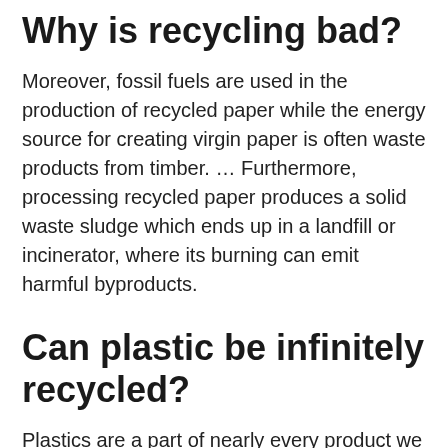Why is recycling bad?
Moreover, fossil fuels are used in the production of recycled paper while the energy source for creating virgin paper is often waste products from timber. ... Furthermore, processing recycled paper produces a solid waste sludge which ends up in a landfill or incinerator, where its burning can emit harmful byproducts.
Can plastic be infinitely recycled?
Plastics are a part of nearly every product we use on a daily basis. ... Called poly(diketoenamine), or PDK, the material has all the convenient properties of